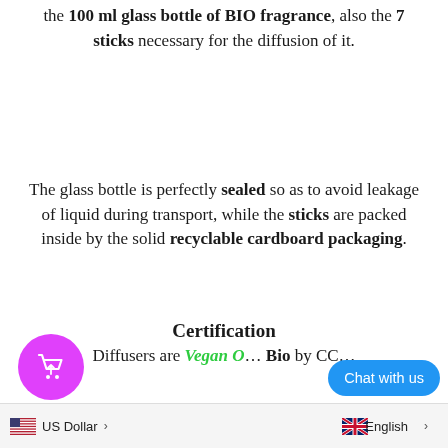the 100 ml glass bottle of BIO fragrance, also the 7 sticks necessary for the diffusion of it.
The glass bottle is perfectly sealed so as to avoid leakage of liquid during transport, while the sticks are packed inside by the solid recyclable cardboard packaging.
Certification
Diffusers are Vegan O... Bio by CC...